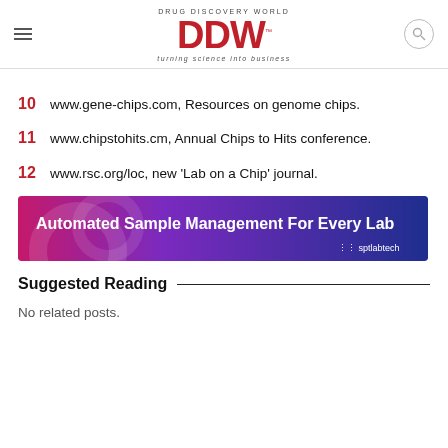DRUG DISCOVERY WORLD DDW turning science into business
10 www.gene-chips.com, Resources on genome chips.
11 www.chipstohits.cm, Annual Chips to Hits conference.
12 www.rsc.org/loc, new 'Lab on a Chip' journal.
[Figure (infographic): Advertisement banner reading 'Automated Sample Management For Every Lab' with sptlabtech logo, gradient background from magenta/purple to dark blue]
Suggested Reading
No related posts.